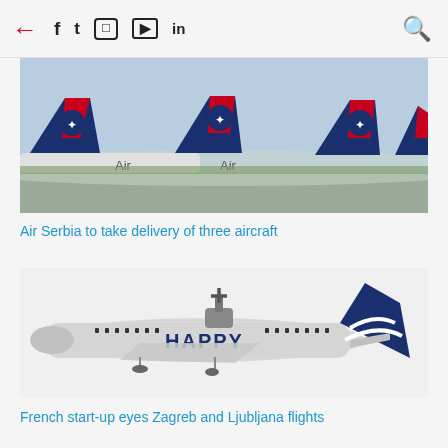← f 𝕏 📷 ▶ in 🔍
[Figure (photo): Air Serbia aircraft tails on the tarmac — multiple planes with dark blue tails bearing a white Serbian eagle emblem and red accents, parked at an airport.]
Air Serbia to take delivery of three aircraft
[Figure (photo): Happy Air turboprop aircraft (ATR-type) with white fuselage, HAPPY text on the side, and dark navy blue tail with swoosh livery markings.]
French start-up eyes Zagreb and Ljubljana flights